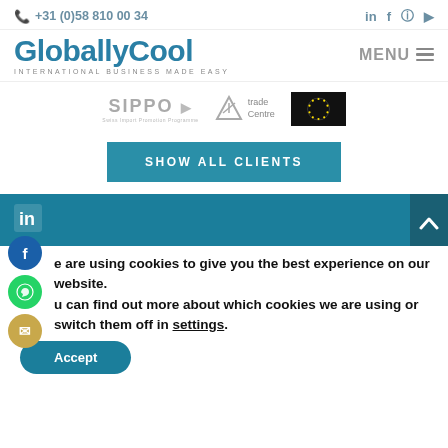+31 (0)58 810 00 34
[Figure (logo): GloballyCool logo with tagline INTERNATIONAL BUSINESS MADE EASY]
[Figure (logo): SIPPO Swiss Import Promotion Programme logo]
[Figure (logo): ITC Trade Centre logo]
[Figure (logo): EU stars logo on dark background]
SHOW ALL CLIENTS
[Figure (logo): LinkedIn icon in teal footer]
We are using cookies to give you the best experience on our website. You can find out more about which cookies we are using or switch them off in settings.
Accept